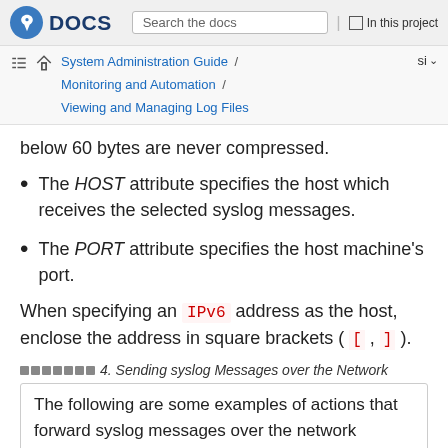DOCS | Search the docs | In this project
System Administration Guide / Monitoring and Automation / Viewing and Managing Log Files | si
below 60 bytes are never compressed.
The HOST attribute specifies the host which receives the selected syslog messages.
The PORT attribute specifies the host machine's port.
When specifying an IPv6 address as the host, enclose the address in square brackets ( [ , ] ).
4. Sending syslog Messages over the Network
The following are some examples of actions that forward syslog messages over the network